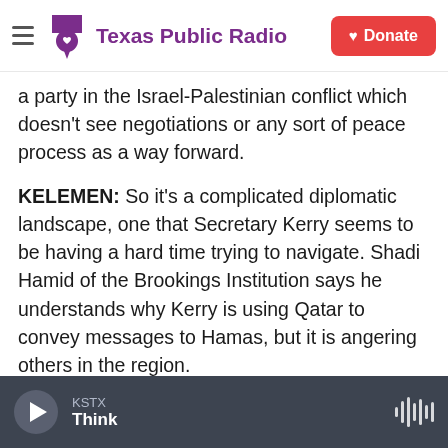Texas Public Radio | Donate
a party in the Israel-Palestinian conflict which doesn't see negotiations or any sort of peace process as a way forward.
KELEMEN: So it's a complicated diplomatic landscape, one that Secretary Kerry seems to be having a hard time trying to navigate. Shadi Hamid of the Brookings Institution says he understands why Kerry is using Qatar to convey messages to Hamas, but it is angering others in the region.
SHADI HAMID: That's just a product of the kind of Arab Cold War that we're in today, where different sides really don't like each other, and there's such a
KSTX Think